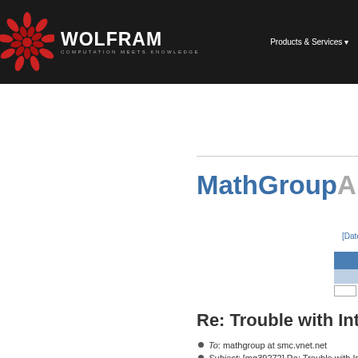WOLFRAM COMPUTATION MEETS KNOWLEDGE | Products & Services
[Figure (logo): Wolfram logo with red snowflake icon and text 'WOLFRAM COMPUTATION MEETS KNOWLEDGE']
MathGroup Archive
[Date Index]
To: mathgroup at smc.vnet.net
Subject: [mg39272] Re: Trouble with Integ...
From: "David W. Cantrell" <DWCantrell at s...